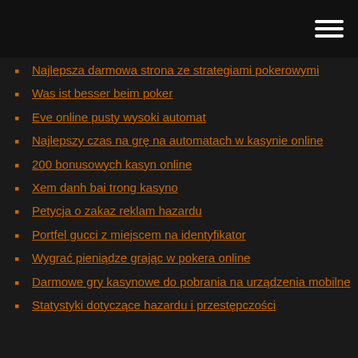Najlepsza darmowa strona ze strategiami pokerowymi
Was ist besser beim poker
Eve online pusty wysoki automat
Najlepszy czas na grę na automatach w kasynie online
200 bonusowych kasyn online
Xem danh bai trong kasyno
Petycja o zakaz reklam hazardu
Portfel gucci z miejscem na identyfikator
Wygrać pieniądze grając w pokera online
Darmowe gry kasynowe do pobrania na urządzenia mobilne
Statystyki dotyczące hazardu i przestępczości